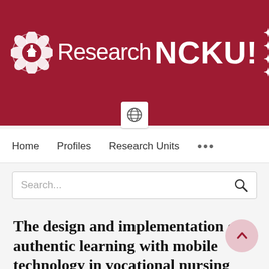Research NCKU!
Home   Profiles   Research Units   ...
Search...
The design and implementation of authentic learning with mobile technology in vocational nursing practice course
Ying Hung Pu, Ting Ting Wu, Po Sheng Chiu, Yueh Min